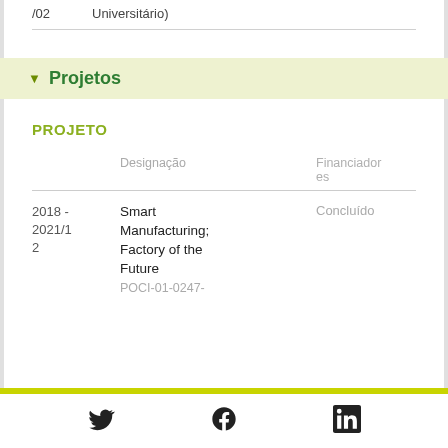/02    Universitário)
▼ Projetos
PROJETO
|  | Designação | Financiadores |
| --- | --- | --- |
| 2018 -
2021/1
2 | Smart Manufacturing;
Factory of the
Future
POCI-01-0247- | Concluído |
Twitter  Facebook  LinkedIn